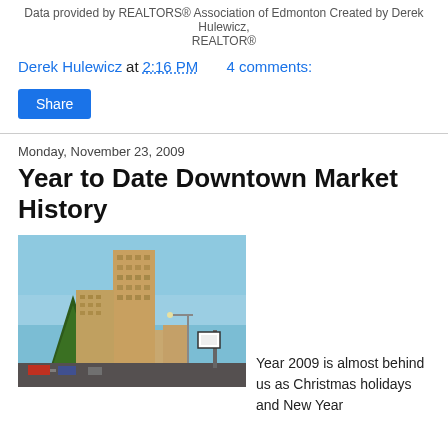Data provided by REALTORS® Association of Edmonton Created by Derek Hulewicz, REALTOR®
Derek Hulewicz at 2:16 PM   4 comments:
Share
Monday, November 23, 2009
Year to Date Downtown Market History
[Figure (photo): Photo of downtown Edmonton high-rise apartment towers against a blue sky, with street traffic and trees in the foreground.]
Year 2009 is almost behind us as Christmas holidays and New Year